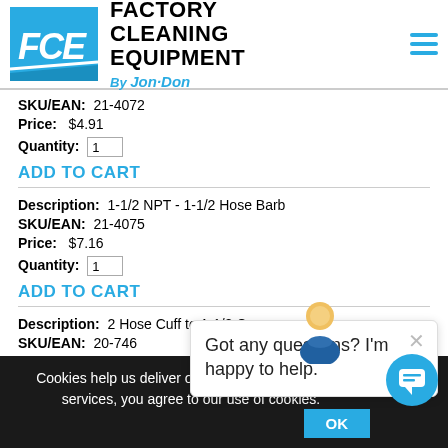[Figure (logo): FCE Factory Cleaning Equipment by Jon-Don logo with blue FCE badge and hamburger menu icon]
SKU/EAN:  21-4072
Price:   $4.91
Quantity:  1
ADD TO CART
Description:  1-1/2 NPT - 1-1/2 Hose Barb
SKU/EAN:  21-4075
Price:   $7.16
Quantity:  1
ADD TO CART
Description:  2 Hose Cuff to 1-1/2 C...
SKU/EAN:  20-746
Got any questions? I'm happy to help.
Cookies help us deliver our services. By using our services, you agree to our use of cookies.